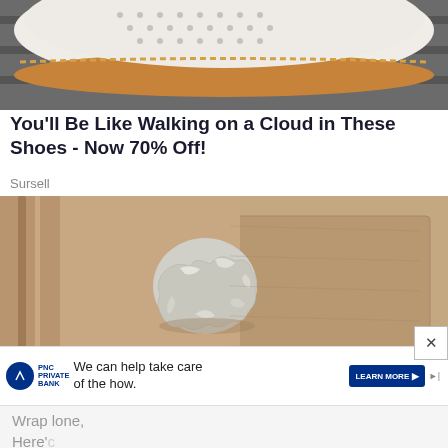[Figure (photo): Cropped photo of a white leather shoe with gold/tan sole on a textured surface]
You'll Be Like Walking on a Cloud in These Shoes - Now 70% Off!
Sursell
[Figure (photo): Photo of a door knob wrapped in aluminum/tin foil on a beige wooden door]
We can help take care of the how.
Wrap                                                    lone, Here'c